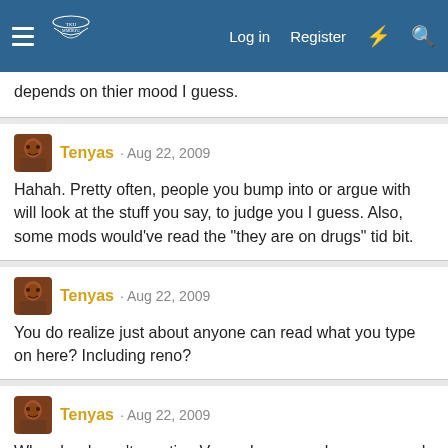Log in  Register
depends on thier mood I guess.
Tenyas · Aug 22, 2009
Hahah. Pretty often, people you bump into or argue with will look at the stuff you say, to judge you I guess. Also, some mods would've read the "they are on drugs" tid bit.
Tenyas · Aug 22, 2009
You do realize just about anyone can read what you type on here? Including reno?
Tenyas · Aug 22, 2009
When he doesn't mention Vearn, he can make some good points. I'm fine with it for now as long as he doesn't go editing my post to include it or something like that.